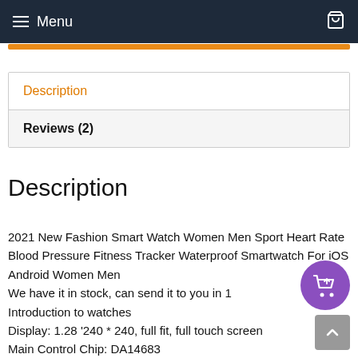Menu
Description
Reviews (2)
Description
2021 New Fashion Smart Watch Women Men Sport Heart Rate Blood Pressure Fitness Tracker Waterproof Smartwatch For iOS Android Women Men We have it in stock, can send it to you in 1 Introduction to watches Display: 1.28 '240 * 240, full fit, full touch screen Main Control Chip: DA14683